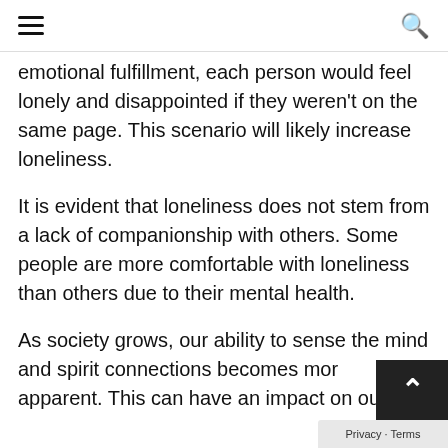≡  🔍
emotional fulfillment, each person would feel lonely and disappointed if they weren't on the same page. This scenario will likely increase loneliness.
It is evident that loneliness does not stem from a lack of companionship with others. Some people are more comfortable with loneliness than others due to their mental health.
As society grows, our ability to sense the mind and spirit connections becomes more apparent. This can have an impact on our